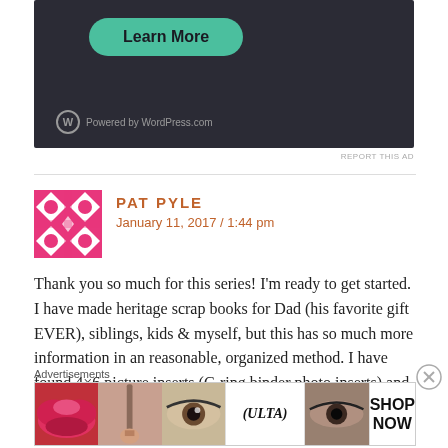[Figure (screenshot): Dark background ad banner with a teal 'Learn More' button and WordPress.com powered logo at bottom left]
REPORT THIS AD
PAT PYLE
January 11, 2017 / 1:44 pm
Thank you so much for this series! I'm ready to get started. I have made heritage scrap books for Dad (his favorite gift EVER), siblings, kids & myself, but this has so much more information in an reasonable, organized method. I have found 4×6 picture inserts (C-ring binder photo inserts) and have ordered them. I have some copies already on file and
Advertisements
[Figure (screenshot): Ulta beauty advertisement banner with makeup imagery and SHOP NOW call to action]